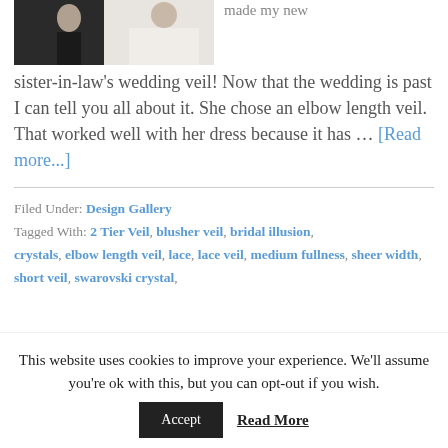[Figure (photo): Wedding photo showing a bride in a white dress with another person]
made my new sister-in-law's wedding veil! Now that the wedding is past I can tell you all about it. She chose an elbow length veil. That worked well with her dress because it has ... [Read more...]
Filed Under: Design Gallery
Tagged With: 2 Tier Veil, blusher veil, bridal illusion, crystals, elbow length veil, lace, lace veil, medium fullness, sheer width, short veil, swarovski crystal,
This website uses cookies to improve your experience. We'll assume you're ok with this, but you can opt-out if you wish.